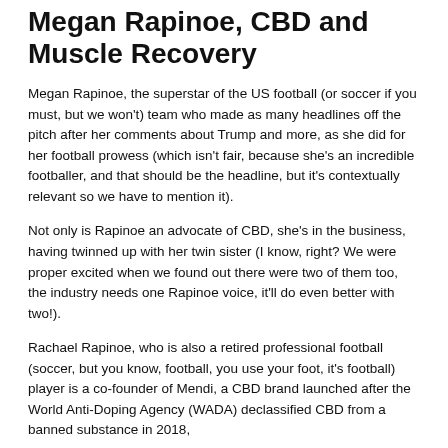Megan Rapinoe, CBD and Muscle Recovery
Megan Rapinoe, the superstar of the US football (or soccer if you must, but we won't) team who made as many headlines off the pitch after her comments about Trump and more, as she did for her football prowess (which isn't fair, because she's an incredible footballer, and that should be the headline, but it's contextually relevant so we have to mention it).
Not only is Rapinoe an advocate of CBD, she's in the business, having twinned up with her twin sister (I know, right? We were proper excited when we found out there were two of them too, the industry needs one Rapinoe voice, it'll do even better with two!).
Rachael Rapinoe, who is also a retired professional football (soccer, but you know, football, you use your foot, it's football) player is a co-founder of Mendi, a CBD brand launched after the World Anti-Doping Agency (WADA) declassified CBD from a banned substance in 2018, since giving it a platform whilst giving Megan a new...